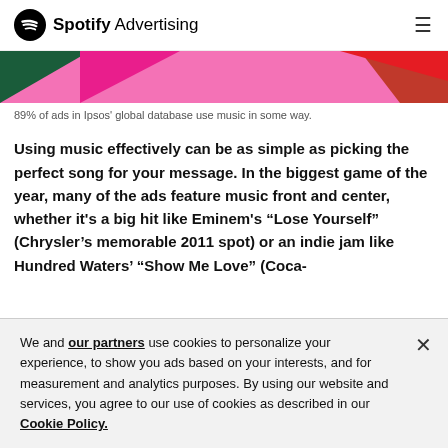Spotify Advertising
[Figure (illustration): Colorful abstract banner with pink, dark green, and red geometric shapes]
89% of ads in Ipsos' global database use music in some way.
Using music effectively can be as simple as picking the perfect song for your message. In the biggest game of the year, many of the ads feature music front and center, whether it's a big hit like Eminem's “Lose Yourself” (Chrysler’s memorable 2011 spot) or an indie jam like Hundred Waters’ “Show Me Love” (Coca-
We and our partners use cookies to personalize your experience, to show you ads based on your interests, and for measurement and analytics purposes. By using our website and services, you agree to our use of cookies as described in our Cookie Policy.